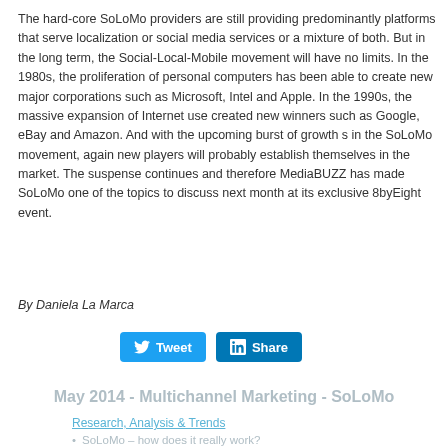The hard-core SoLoMo providers are still providing predominantly platforms that serve localization or social media services or a mixture of both. But in the long term, the Social-Local-Mobile movement will have no limits. In the 1980s, the proliferation of personal computers has been able to create new major corporations such as Microsoft, Intel and Apple. In the 1990s, the massive expansion of Internet use created new winners such as Google, eBay and Amazon. And with the upcoming burst of growth s in the SoLoMo movement, again new players will probably establish themselves in the market. The suspense continues and therefore MediaBUZZ has made SoLoMo one of the topics to discuss next month at its exclusive 8byEight event.
By Daniela La Marca
[Figure (other): Social media sharing buttons: Tweet button (blue, Twitter bird icon) and Share button (dark blue, LinkedIn icon)]
May 2014 - Multichannel Marketing - SoLoMo
Research, Analysis & Trends
SoLoMo – how does it really work?
Indians are the 'most passionate and grateful' customers across the globe, Hawa... Media Group reveals